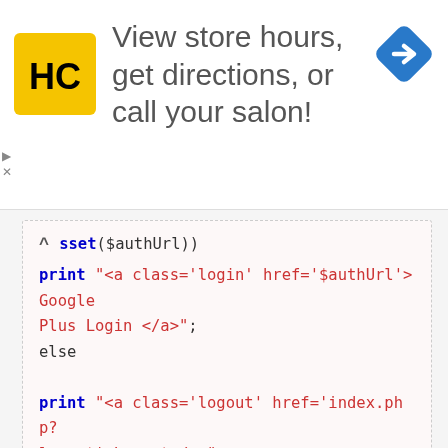[Figure (screenshot): Advertisement banner for Hair Club (HC) salon locator. Shows HC logo (yellow square with HC letters), text 'View store hours, get directions, or call your salon!', and a blue navigation/directions diamond icon on the right.]
sset($authUrl))
print "<a class='login' href='$authUrl'>Google Plus Login </a>";
else
print "<a class='logout' href='index.php?logout'>Logout</a>";
?>